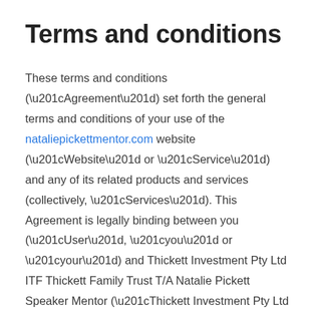Terms and conditions
These terms and conditions (“Agreement”) set forth the general terms and conditions of your use of the nataliepickettmentor.com website (“Website” or “Service”) and any of its related products and services (collectively, “Services”). This Agreement is legally binding between you (“User”, “you” or “your”) and Thickett Investment Pty Ltd ITF Thickett Family Trust T/A Natalie Pickett Speaker Mentor (“Thickett Investment Pty Ltd ITF Thickett Family Trust T/A Natalie Pickett Speaker Mentor”, “we”, “us” or “our”). If you are entering into this agreement on behalf of a business or